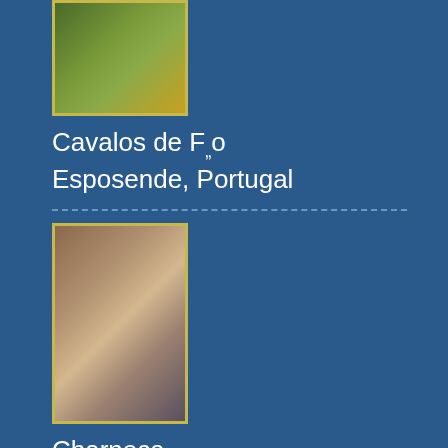[Figure (photo): Photo with golden border showing a painting/image with orange and green tones - Cavalos de Fogo, Esposende, Portugal]
Cavalos de Fóo
Esposende, Portugal
[Figure (photo): Photo with golden border showing a harbor/dock scene - Charneca, Porto north, Portugal]
Charneca
Porto north, Portugal
"Charneca" was a tugboat owned by Lisnave.She was sailing from Lisbon to give assistance to a cargo ship, but did not make it and decided to try to find harbour in Leix?es where she arrived with many technical problems